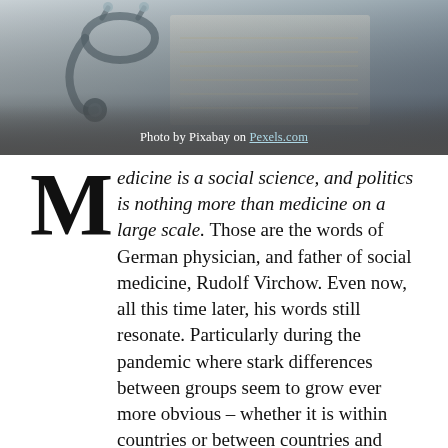[Figure (photo): A stethoscope and medical clipboard/paperwork on a desk, with a gradient gray overlay at the bottom containing the photo credit.]
Photo by Pixabay on Pexels.com
Medicine is a social science, and politics is nothing more than medicine on a large scale. Those are the words of German physician, and father of social medicine, Rudolf Virchow. Even now, all this time later, his words still resonate. Particularly during the pandemic where stark differences between groups seem to grow ever more obvious – whether it is within countries or between countries and regions. How can we reify the importance of social environment and context in a hyper-biomedical world?